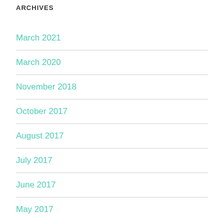ARCHIVES
March 2021
March 2020
November 2018
October 2017
August 2017
July 2017
June 2017
May 2017